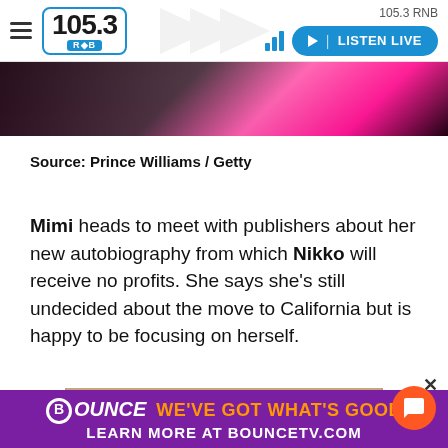105.3 RNB — LISTEN LIVE
[Figure (photo): Top cropped photo showing a woman in a bright pink outfit at an event, dark background]
Source: Prince Williams / Getty
Mimi heads to meet with publishers about her new autobiography from which Nikko will receive no profits. She says she's still undecided about the move to California but is happy to be focusing on herself.
[Figure (photo): A couple posing for a photo at an event — a man on the left and a woman with long dark hair on the right]
[Figure (infographic): Bounce TV advertisement banner: BOUNCE — WE'VE GOT WHAT'S GOOD / LEARN MORE AT BOUNCETV.COM on purple background with orange text]